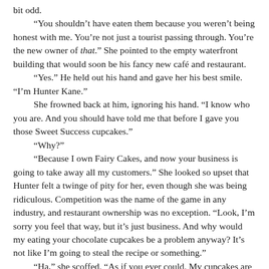bit odd.

“You shouldn’t have eaten them because you weren’t being honest with me. You’re not just a tourist passing through. You’re the new owner of that.” She pointed to the empty waterfront building that would soon be his fancy new café and restaurant.
	“Yes.” He held out his hand and gave her his best smile. “I’m Hunter Kane.”
	She frowned back at him, ignoring his hand. “I know who you are. And you should have told me that before I gave you those Sweet Success cupcakes.”
	“Why?”
	“Because I own Fairy Cakes, and now your business is going to take away all my customers.” She looked so upset that Hunter felt a twinge of pity for her, even though she was being ridiculous. Competition was the name of the game in any industry, and restaurant ownership was no exception. “Look, I’m sorry you feel that way, but it’s just business. And why would my eating your chocolate cupcakes be a problem anyway? It’s not like I’m going to steal the recipe or something.”
	“Ha,” she scoffed. “As if you ever could. My cupcakes are special, and everyone on this island knows it.”
	“Oh . . . kay.” He still wasn’t quite sure what she was getting at.
	“And now you’ve gone and eaten them.” She threw her hands up in the air.